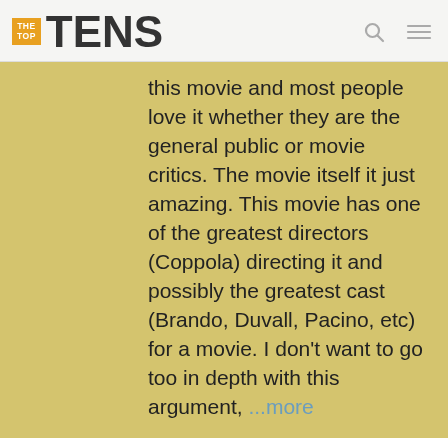THE TOP TENS
this movie and most people love it whether they are the general public or movie critics. The movie itself it just amazing. This movie has one of the greatest directors (Coppola) directing it and possibly the greatest cast (Brando, Duvall, Pacino, etc) for a movie. I don't want to go too in depth with this argument, ...more
I'll admit, this is my 2nd favorite movie tied with Cast Away. Cast Away is just so breathtaking and amazing, but I am just as obsessed with this movie as well. Now let's talk about The Godfather. The storytelling in this movie is something we don't get nowadays. We have movies with explosions, no character development, god awful acting and no plot. This is top notch acting and Brando outdid himself on this one. The plot is so intricate and deep and relies on storytelling along with action for a portrait of a mafia. The character development and the emotion also makes up a good